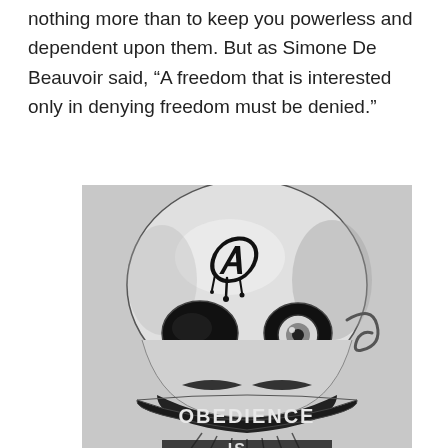nothing more than to keep you powerless and dependent upon them. But as Simone De Beauvoir said, “A freedom that is interested only in denying freedom must be denied.”
[Figure (illustration): Black and white illustration of a decorative skull with an anarchy symbol (circled A) on the forehead, one hollow eye socket and one eye with an eyeball, a mustache, and a banner across the lower jaw reading 'OBEDIENCE' with partial text below.]